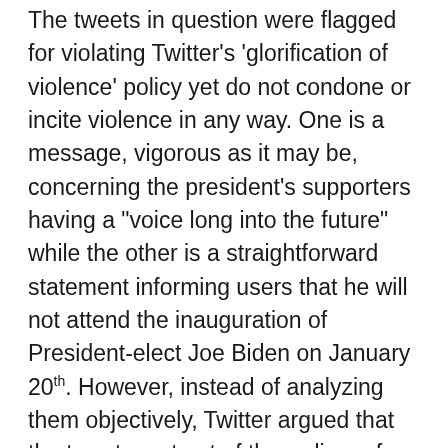The tweets in question were flagged for violating Twitter's 'glorification of violence' policy yet do not condone or incite violence in any way. One is a message, vigorous as it may be, concerning the president's supporters having a "voice long into the future" while the other is a straightforward statement informing users that he will not attend the inauguration of President-elect Joe Biden on January 20th. However, instead of analyzing them objectively, Twitter argued that the tweets, not out of the ordinary for an account such as Trump's that has previously shared false and heated claims, must be treated "in the broader context of events in the country."
This resulted in Twitter compiling a list of points detailing how, in their indisputable opinion, the president's tweets were grievous attempts to incite others...